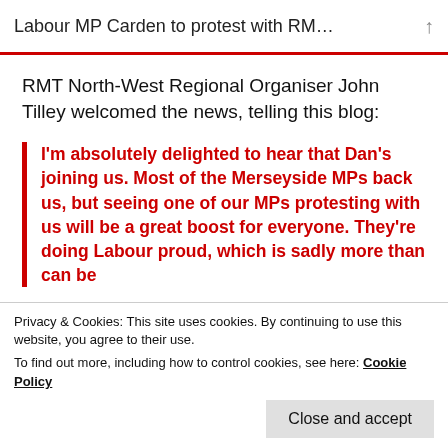Labour MP Carden to protest with RM…
RMT North-West Regional Organiser John Tilley welcomed the news, telling this blog:
I'm absolutely delighted to hear that Dan's joining us. Most of the Merseyside MPs back us, but seeing one of our MPs protesting with us will be a great boost for everyone. They're doing Labour proud, which is sadly more than can be
Privacy & Cookies: This site uses cookies. By continuing to use this website, you agree to their use.
To find out more, including how to control cookies, see here: Cookie Policy
passenger safety and our members.